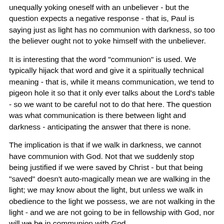unequally yoking oneself with an unbeliever - but the question expects a negative response - that is, Paul is saying just as light has no communion with darkness, so too the believer ought not to yoke himself with the unbeliever.
It is interesting that the word "communion" is used. We typically hijack that word and give it a spiritually technical meaning - that is, while it means communication, we tend to pigeon hole it so that it only ever talks about the Lord's table - so we want to be careful not to do that here. The question was what communication is there between light and darkness - anticipating the answer that there is none.
The implication is that if we walk in darkness, we cannot have communion with God. Not that we suddenly stop being justified if we were saved by Christ - but that being "saved" doesn't auto-magically mean we are walking in the light; we may know about the light, but unless we walk in obedience to the light we possess, we are not walking in the light - and we are not going to be in fellowship with God, nor will we be in communion with God.
It is not possible before the last word because it is the principal...